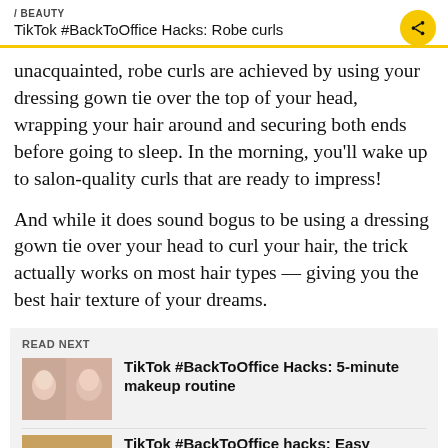/ BEAUTY
TikTok #BackToOffice Hacks: Robe curls
unacquainted, robe curls are achieved by using your dressing gown tie over the top of your head, wrapping your hair around and securing both ends before going to sleep. In the morning, you'll wake up to salon-quality curls that are ready to impress!
And while it does sound bogus to be using a dressing gown tie over your head to curl your hair, the trick actually works on most hair types — giving you the best hair texture of your dreams.
READ NEXT
TikTok #BackToOffice Hacks: 5-minute makeup routine
TikTok #BackToOffice hacks: Easy